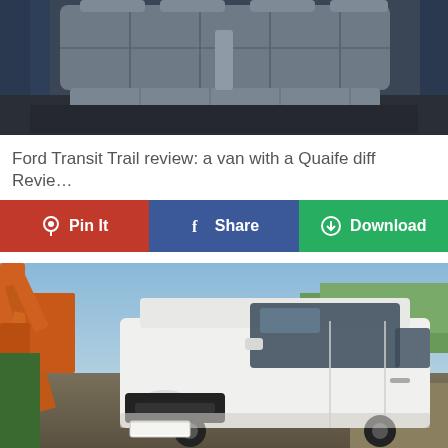[Figure (photo): Interior photo of a Ford Transit van showing grey leather/vinyl bench seats]
Ford Transit Trail review: a van with a Quaife diff Revie…
[Figure (infographic): Three social sharing buttons: Pin It (red/Pinterest), Share (blue/Facebook), Download (green)]
[Figure (photo): Exterior photo of a white Ford Transit Custom van parked at a construction site with orange excavator machinery visible in background]